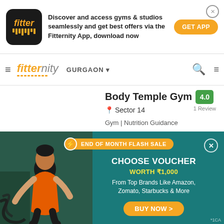[Figure (screenshot): Fitter app logo - black rounded square with orange 'fitter' text and bar pattern]
Discover and access gyms & studios seamlessly and get best offers via the Fitternity App, download now
GET APP
[Figure (logo): Fitternity logo with orange italic text and decorative bars]
GURGAON
Body Temple Gym
4.0
1 Review
Sector 14
Gym | Nutrition Guidance
+ 14 Photos
[Figure (infographic): Flash sale popup banner with teal background showing a man doing battle ropes exercise. Orange flash sale tag at top, close button, voucher offer text.]
END OF MONTH FLASH SALE
CHOOSE VOUCHER
WORTH ₹1,000
From Top Brands Like Amazon, Zomato, Starbucks & More
BUY NOW >
*1CA